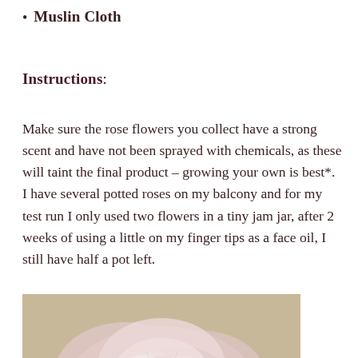Muslin Cloth
Instructions:
Make sure the rose flowers you collect have a strong scent and have not been sprayed with chemicals, as these will taint the final product – growing your own is best*. I have several potted roses on my balcony and for my test run I only used two flowers in a tiny jam jar, after 2 weeks of using a little on my finger tips as a face oil, I still have half a pot left.
[Figure (photo): Close-up photograph of a pale pink rose with soft petals, on a beige/tan background]